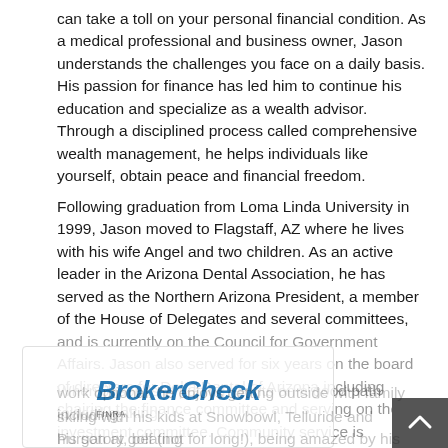can take a toll on your personal financial condition. As a medical professional and business owner, Jason understands the challenges you face on a daily basis. His passion for finance has led him to continue his education and specialize as a wealth advisor. Through a disciplined process called comprehensive wealth management, he helps individuals like yourself, obtain peace and financial freedom.
Following graduation from Loma Linda University in 1999, Jason moved to Flagstaff, AZ where he lives with his wife Angel and two children. As an active leader in the Arizona Dental Association, he has served as the Northern Arizona President, a member of the House of Delegates and several committees, and is currently on the Council for Government Affairs. Jason also served for six years on the board of directors for Delta Dental of Arizona including chairing the finance committee and serving on the investment committee. Community service is important to his family, and they all serve regularly at the Flagstaff Family Food Center.
When Jason isn't putting clients on a good path toward making work optional, he enjoys getting outside with family including; skiing with his kids at Snowbowl, Telluride and Purgatory, beating his son at golf (not for long!), being amazed by his daughter's incredible dance/ballet talent (that he clearly doesn't possess!), photography, discovering new parts of the southwest in his...
[Figure (logo): FINRA BrokerCheck logo overlay with scroll-up arrow button]